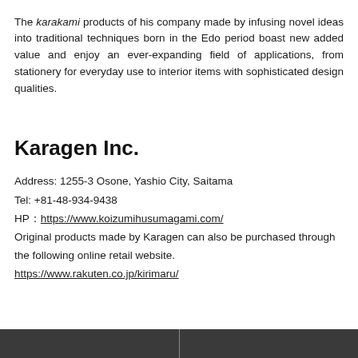The karakami products of his company made by infusing novel ideas into traditional techniques born in the Edo period boast new added value and enjoy an ever-expanding field of applications, from stationery for everyday use to interior items with sophisticated design qualities.
Karagen Inc.
Address: 1255-3 Osone, Yashio City, Saitama
Tel: +81-48-934-9438
HP：https://www.koizumihusumagami.com/
Original products made by Karagen can also be purchased through the following online retail website.
https://www.rakuten.co.jp/kirimaru/